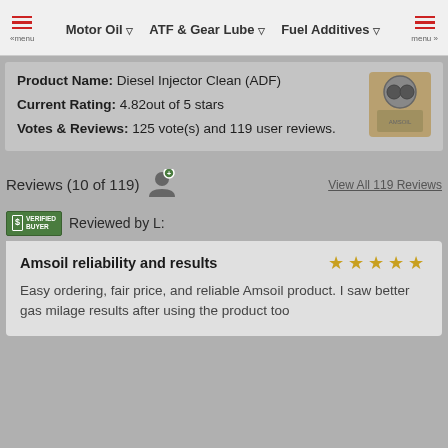Motor Oil | ATF & Gear Lube | Fuel Additives
Product Name: Diesel Injector Clean (ADF)
Current Rating: 4.82out of 5 stars
Votes & Reviews: 125 vote(s) and 119 user reviews.
Reviews (10 of 119)
View All 119 Reviews
Reviewed by L:
Amsoil reliability and results
Easy ordering, fair price, and reliable Amsoil product. I saw better gas milage results after using the product too